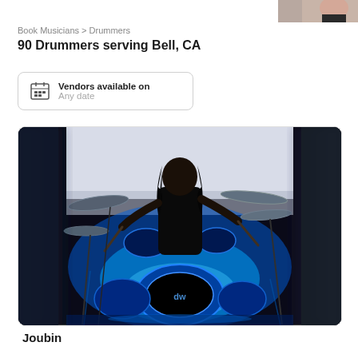[Figure (photo): Partial photo of a person visible at top right corner of page]
Book Musicians > Drummers
90 Drummers serving Bell, CA
Vendors available on
Any date
[Figure (photo): Drummer playing a DW drum kit illuminated with bright blue LED lights, center-focused image with blurred edges on both sides]
Joubin